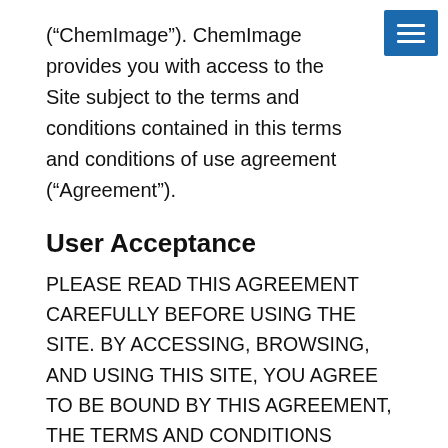(“ChemImage”). ChemImage provides you with access to the Site subject to the terms and conditions contained in this terms and conditions of use agreement (“Agreement”).
User Acceptance
PLEASE READ THIS AGREEMENT CAREFULLY BEFORE USING THE SITE. BY ACCESSING, BROWSING, AND USING THIS SITE, YOU AGREE TO BE BOUND BY THIS AGREEMENT, THE TERMS AND CONDITIONS DESCRIBED BELOW, ALL POLICIES AND GUIDELINES INCORPORATED BY REFERENCE, AND ANY SUBSEQUENT CHANGES TO THE FOREGOING. IF YOU DO NOT AGREE TO THESE SITE TERMS OR